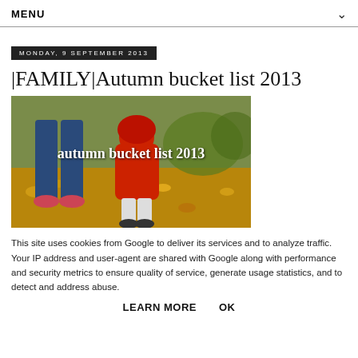MENU
MONDAY, 9 SEPTEMBER 2013
|FAMILY|Autumn bucket list 2013
[Figure (photo): Photo of adult and child in red jacket walking through autumn leaves, with overlay text reading 'autumn bucket list 2013']
This site uses cookies from Google to deliver its services and to analyze traffic. Your IP address and user-agent are shared with Google along with performance and security metrics to ensure quality of service, generate usage statistics, and to detect and address abuse.
LEARN MORE    OK